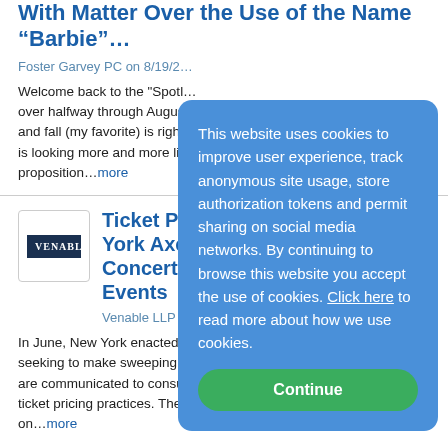With Matter Over the Use of the Name “Barbie”…
Foster Garvey PC on 8/19/2…
Welcome back to the "Spotl… over halfway through Augus… and fall (my favorite) is righ… is looking more and more li… proposition…more
Ticket Platform… York Axes Hidde… Concerts and En… Events
Venable LLP on 8/19/2022
In June, New York enacted a… seeking to make sweeping c… are communicated to consum… ticket pricing practices. The law will go into effect on…more
This website uses cookies to improve user experience, track anonymous site usage, store authorization tokens and permit sharing on social media networks. By continuing to browse this website you accept the use of cookies. Click here to read more about how we use cookies.
Continue